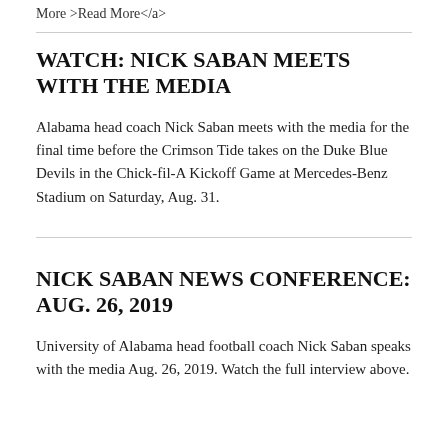More >Read More</a>
WATCH: NICK SABAN MEETS WITH THE MEDIA
Alabama head coach Nick Saban meets with the media for the final time before the Crimson Tide takes on the Duke Blue Devils in the Chick-fil-A Kickoff Game at Mercedes-Benz Stadium on Saturday, Aug. 31.
NICK SABAN NEWS CONFERENCE: AUG. 26, 2019
University of Alabama head football coach Nick Saban speaks with the media Aug. 26, 2019. Watch the full interview above.